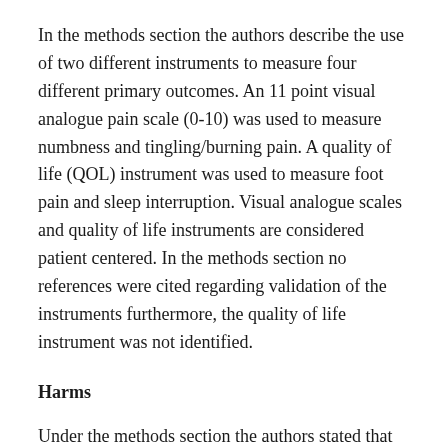In the methods section the authors describe the use of two different instruments to measure four different primary outcomes. An 11 point visual analogue pain scale (0-10) was used to measure numbness and tingling/burning pain. A quality of life (QOL) instrument was used to measure foot pain and sleep interruption. Visual analogue scales and quality of life instruments are considered patient centered. In the methods section no references were cited regarding validation of the instruments furthermore, the quality of life instrument was not identified.
Harms
Under the methods section the authors stated that adverse effects would be monitored and reported. The adverse effects the authors were looking for included ulceration, abrasion,